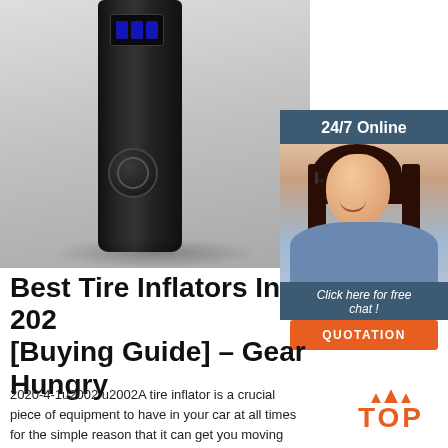[Figure (photo): Black portable tire inflator device with digital display screen, standing upright against a light gray background]
[Figure (infographic): 24/7 Online chat banner with a smiling female customer service representative wearing a headset, with 'Click here for free chat!' text and an orange QUOTATION button]
Best Tire Inflators In 2020 [Buying Guide] – Gear Hungry
2020-4-1u2002·u2002A tire inflator is a crucial piece of equipment to have in your car at all times for the simple reason that it can get you moving fast in the event of a flat tire. While you may be able to call for roadside assistance, this
[Figure (logo): Orange TOP badge with triangle dots above the word TOP in orange bold letters]